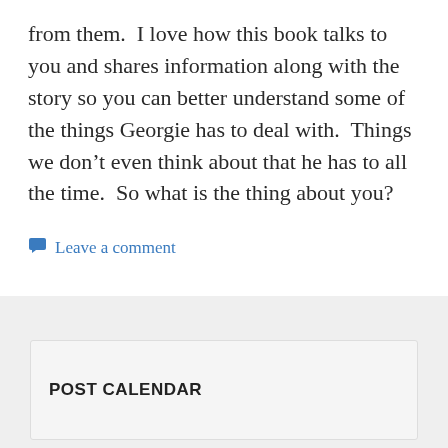from them.  I love how this book talks to you and shares information along with the story so you can better understand some of the things Georgie has to deal with.  Things we don't even think about that he has to all the time.  So what is the thing about you?
Leave a comment
POST CALENDAR